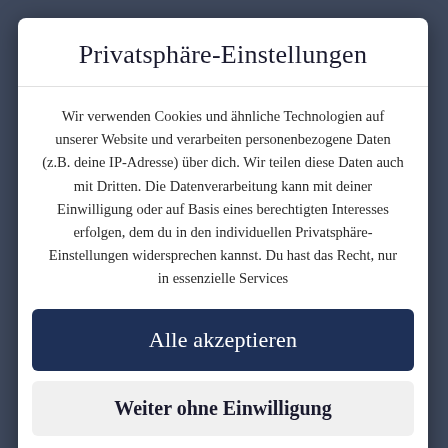Privatsphäre-Einstellungen
Wir verwenden Cookies und ähnliche Technologien auf unserer Website und verarbeiten personenbezogene Daten (z.B. deine IP-Adresse) über dich. Wir teilen diese Daten auch mit Dritten. Die Datenverarbeitung kann mit deiner Einwilligung oder auf Basis eines berechtigten Interesses erfolgen, dem du in den individuellen Privatsphäre-Einstellungen widersprechen kannst. Du hast das Recht, nur in essenzielle Services
Alle akzeptieren
Weiter ohne Einwilligung
Individuelle Privatsphäre-Einstellungen
Datenschutzerklärung • Impressum
Cookie Consent mit Real Cookie Banner